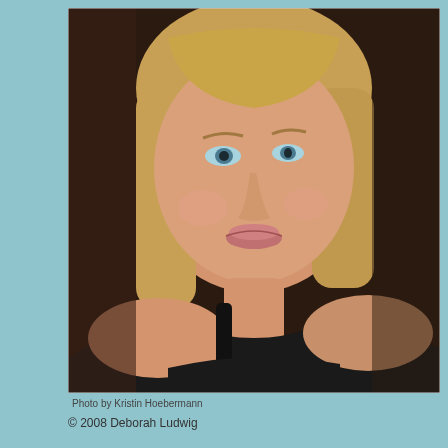[Figure (photo): Headshot portrait of a blonde woman with blue eyes, wearing a black tank top, smiling slightly at the camera. Background is dark and blurred. Professional photography style.]
Photo by Kristin Hoebermann
© 2008 Deborah Ludwig